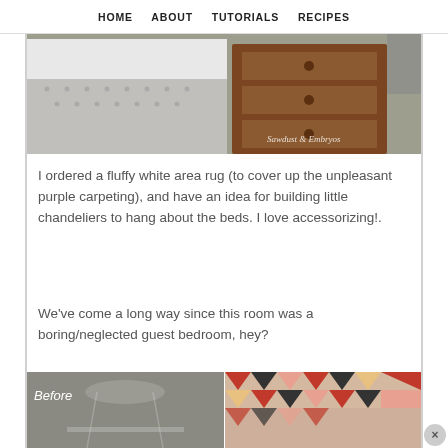HOME   ABOUT   TUTORIALS   RECIPES
[Figure (photo): Photo of a bed with grey polka-dot fabric and a brown wooden dresser with round knobs. Watermark text reads Sawdust & Embryos.]
I ordered a fluffy white area rug (to cover up the unpleasant purple carpeting), and have an idea for building little chandeliers to hang about the beds. I love accessorizing!.
We’ve come a long way since this room was a boring/neglected guest bedroom, hey?
[Figure (photo): Two side-by-side photos: left shows a before photo of a bedroom with a canopy bed frame (grey toned, labeled Before), right shows a colorful geometric quilt/bedding with pink, coral, black and white chevron/triangle pattern.]